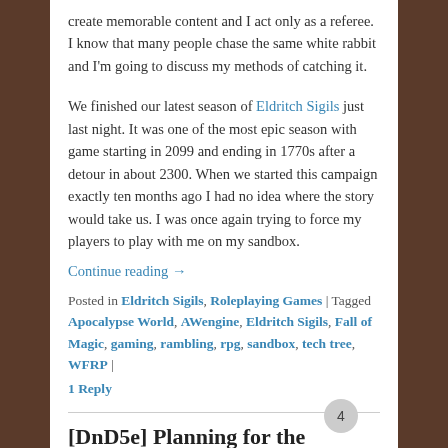create memorable content and I act only as a referee. I know that many people chase the same white rabbit and I'm going to discuss my methods of catching it.
We finished our latest season of Eldritch Sigils just last night. It was one of the most epic season with game starting in 2099 and ending in 1770s after a detour in about 2300. When we started this campaign exactly ten months ago I had no idea where the story would take us. I was once again trying to force my players to play with me on my sandbox.
Continue reading →
Posted in Eldritch Sigils, Roleplaying Games | Tagged Apocalypse World, AWengine, Eldritch Sigils, Fall of Magic, gaming, rambling, rpg, sandbox, tech tree, WFRP | 1 Reply
[DnD5e] Planning for the